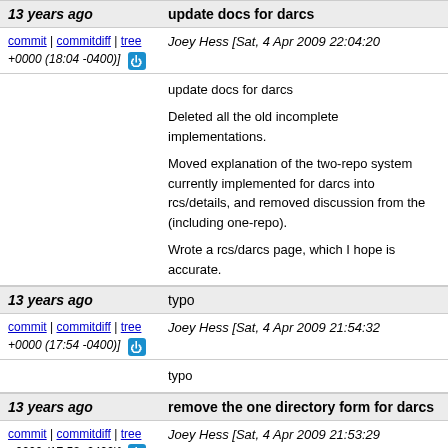13 years ago | update docs for darcs
commit | commitdiff | tree   Joey Hess [Sat, 4 Apr 2009 22:04:20 +0000 (18:04 -0400)]
update docs for darcs

Deleted all the old incomplete implementations.

Moved explanation of the two-repo system currently implemented for darcs into rcs/details, and removed discussion from there (including one-repo).

Wrote a rcs/darcs page, which I hope is accurate.
13 years ago | typo
commit | commitdiff | tree   Joey Hess [Sat, 4 Apr 2009 21:54:32 +0000 (17:54 -0400)]
typo
13 years ago | remove the one directory form for darcs
commit | commitdiff | tree   Joey Hess [Sat, 4 Apr 2009 21:53:29 +0000 (17:53 -0400)]